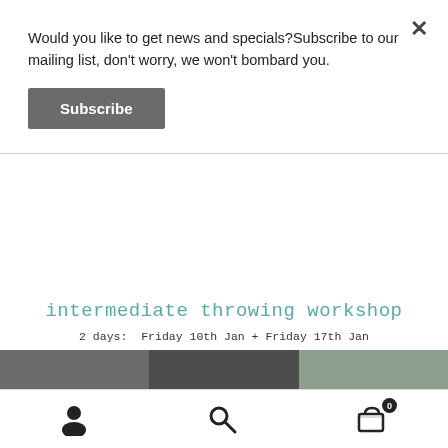Would you like to get news and specials?Subscribe to our mailing list, don't worry, we won't bombard you.
Subscribe
intermediate throwing workshop
2 days:  Friday 10th Jan + Friday 17th Jan
10am-3pm both days
(mugs with handles + bottles or tall forms)

day 1 designing + making
day 2 turning, attaching handles + decorating
maximum participants 4

Fee $250
included firings (with choice of 3 glazes)
clay can be purchased from me on the day
or BYO stoneware clay
BYO lunch, morning tea provided
[Figure (other): Three colored rectangular bars: dark gray, darker gray, and sage green]
[Figure (other): Bottom navigation bar with person icon, search icon, and shopping cart icon with badge 0]